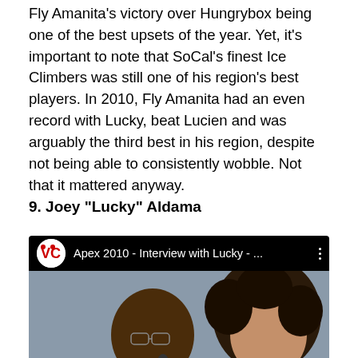By the end of December, everyone was talking about Fly Amanita's victory over Hungrybox being one of the best upsets of the year. Yet, it's important to note that SoCal's finest Ice Climbers was still one of his region's best players. In 2010, Fly Amanita had an even record with Lucky, beat Lucien and was arguably the third best in his region, despite not being able to consistently wobble. Not that it mattered anyway.
9. Joey “Lucky” Aldama
[Figure (screenshot): YouTube video embed showing 'Apex 2010 - Interview with Lucky - ...' with a thumbnail showing two people, one holding a microphone]